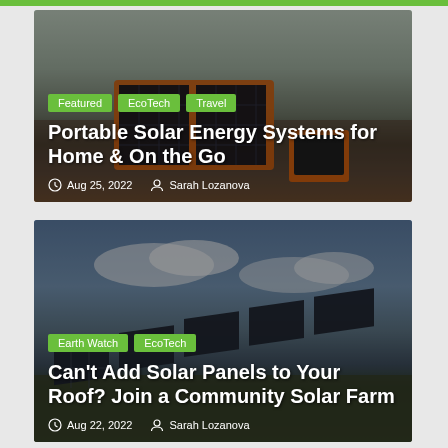[Figure (photo): Article card 1: Photo of portable solar panels in a sandy/tundra landscape with a power station. Tags: Featured, EcoTech, Travel. Title: Portable Solar Energy Systems for Home & On the Go. Date: Aug 25, 2022. Author: Sarah Lozanova.]
Portable Solar Energy Systems for Home & On the Go
Aug 25, 2022  Sarah Lozanova
[Figure (photo): Article card 2: Photo of a community solar farm with large solar panels in a green field under a cloudy sky. Tags: Earth Watch, EcoTech. Title: Can't Add Solar Panels to Your Roof? Join a Community Solar Farm. Date: Aug 22, 2022. Author: Sarah Lozanova.]
Can't Add Solar Panels to Your Roof? Join a Community Solar Farm
Aug 22, 2022  Sarah Lozanova